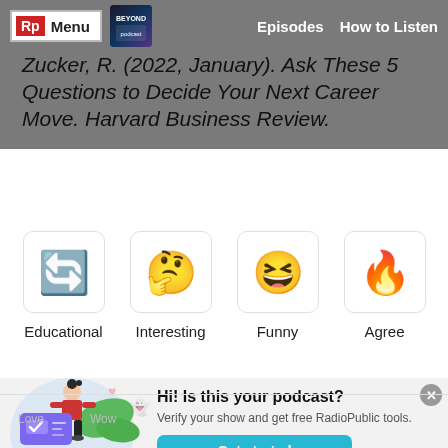Rp Menu | Episodes | How to Listen
Zucker, R. (2022, January). Ask These 5 Questions to Decide Your Next Career Move. Harvard Business Review.
[Figure (other): Reaction buttons row with emoji icons for Educational (recycle/star emoji), Interesting (thinking face emoji), Funny (laughing face emoji), Agree (flame/fire emoji), with labels below each]
[Figure (other): RadioPublic popup: illustration of woman with verification card, text 'Hi! Is this your podcast? Verify your show and get free RadioPublic tools.' with Get started button and close X button]